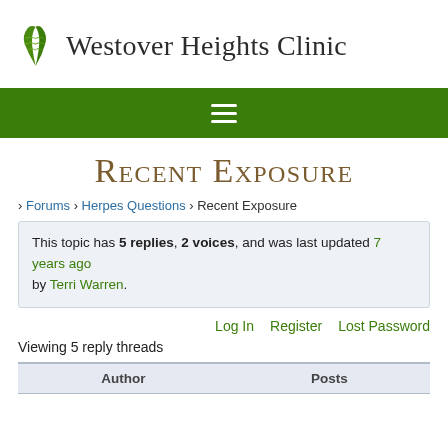[Figure (logo): Westover Heights Clinic logo with green leaf/fern icon and clinic name]
[Figure (other): Green navigation bar with hamburger menu icon]
Recent Exposure
› Forums › Herpes Questions › Recent Exposure
This topic has 5 replies, 2 voices, and was last updated 7 years ago by Terri Warren.
Log In   Register   Lost Password
Viewing 5 reply threads
| Author | Posts |
| --- | --- |